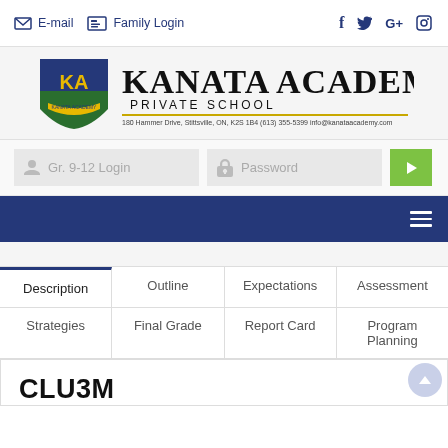E-mail   Family Login
[Figure (logo): Kanata Academy Private School logo with shield emblem, address: 180 Hammer Drive, Stittsville, ON, K2S 1B4, (613) 355-5399, info@kanataacademy.com]
Gr. 9-12 Login   Password
Description   Outline   Expectations   Assessment   Strategies   Final Grade   Report Card   Program Planning
CLU3M